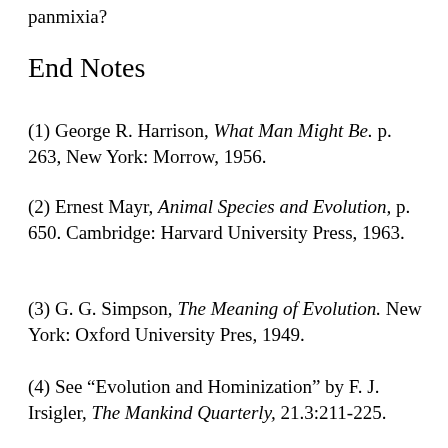panmixia?
End Notes
(1) George R. Harrison, What Man Might Be. p. 263, New York: Morrow, 1956.
(2) Ernest Mayr, Animal Species and Evolution, p. 650. Cambridge: Harvard University Press, 1963.
(3) G. G. Simpson, The Meaning of Evolution. New York: Oxford University Pres, 1949.
(4) See “Evolution and Hominization” by F. J. Irsigler, The Mankind Quarterly, 21.3:211-225.